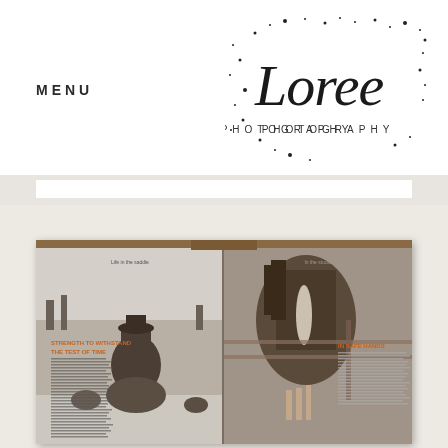MENU
[Figure (logo): Loree Photography logo with script font and ink splatter marks]
[Figure (photo): Open magazine spread showing two pages: left page features a cowboy on horseback with cattle in a winter scene, with orange headline text reading 'STRENGTH TO WITHSTAND THE TEST OF TIME'; right page shows a close-up of a horse being touched by a child's hands with headline 'IN SAFE HANDS'. Both pages have body text in small print.]